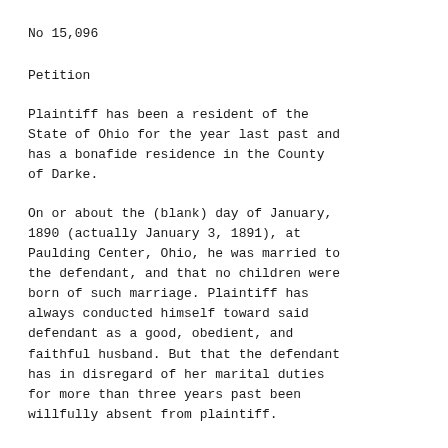No 15,096
Petition
Plaintiff has been a resident of the State of Ohio for the year last past and has a bonafide residence in the County of Darke.
On or about the (blank) day of January, 1890 (actually January 3, 1891), at Paulding Center, Ohio, he was married to the defendant, and that no children were born of such marriage. Plaintiff has always conducted himself toward said defendant as a good, obedient, and faithful husband. But that the defendant has in disregard of her marital duties for more than three years past been willfully absent from plaintiff.